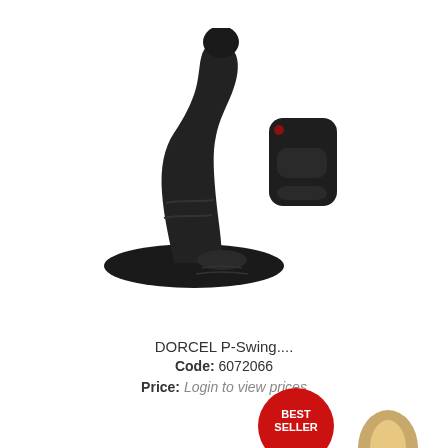[Figure (photo): Black prostate massager device with remote control]
DORCEL P-Swing....
Code: 6072066
Price: Login to view prices
[Figure (photo): Best Seller badge (red circle) and partial view of a second product]